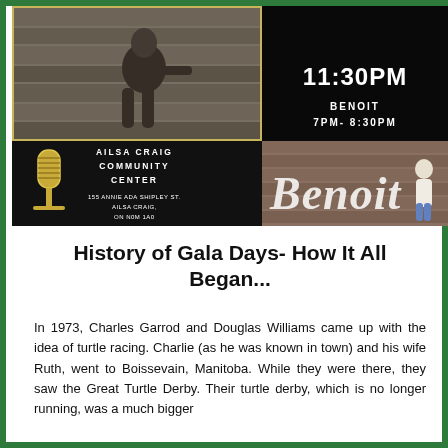[Figure (photo): Collage of concert/event promotional images: top-left shows a man sitting on wooden steps in black and white, top-right shows '11:30PM' and 'BENOIT 7PM-8:30PM' on dark background, bottom-left shows a vintage microphone with 'Ailsa Craig Community Center' text, bottom-right shows a man standing in front of large 'Benoit' text letters against a brick wall.]
History of Gala Days- How It All Began...
In 1973, Charles Garrod and Douglas Williams came up with the idea of turtle racing. Charlie (as he was known in town) and his wife Ruth, went to Boissevain, Manitoba. While they were there, they saw the Great Turtle Derby. Their turtle derby, which is no longer running, was a much bigger